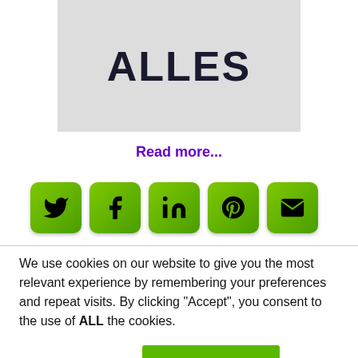[Figure (photo): Book cover showing the word ALLES in large bold black text on a textured white/cream background]
Read more...
[Figure (infographic): Row of five green rounded square social sharing buttons: Twitter, Facebook, LinkedIn, Pinterest, Email]
We use cookies on our website to give you the most relevant experience by remembering your preferences and repeat visits. By clicking “Accept”, you consent to the use of ALL the cookies.
Cookie instellingen
ACCEPTEER